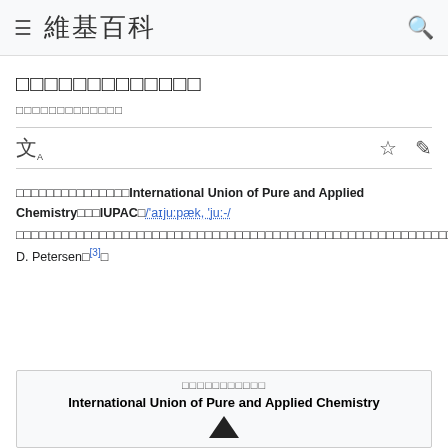≡ 維基百科
□□□□□□□□□□□□□
□□□□□□□□□□□□□
□□□□□□□□□□□□□□□International Union of Pure and Applied Chemistry□□□IUPAC□/'aɪju:pæk, 'ju:-/□□□□□□□□□□□□□□□□□□□□□□□□□□□□□□□□□□□□□□□□□□□□□□□□□□□□□□□□□□□[1]□IUPAC□□□□□□□□□□□□□IUPAC□□□□□□□□□□□□IUPAC□□□□□[2]□□□2012□8□1□□□□□John D. Petersen□□[3]□
International Union of Pure and Applied Chemistry
□□□□□□□□□□□